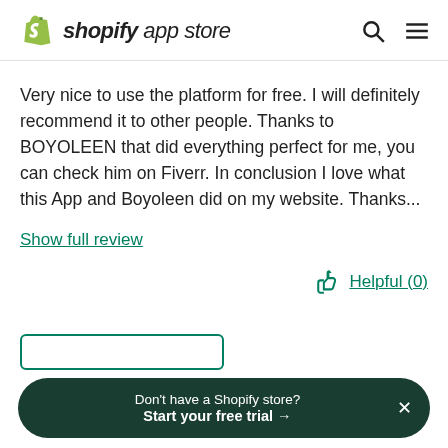shopify app store
Very nice to use the platform for free. I will definitely recommend it to other people. Thanks to BOYOLEEN that did everything perfect for me, you can check him on Fiverr. In conclusion I love what this App and Boyoleen did on my website. Thanks...
Show full review
Helpful (0)
Don't have a Shopify store? Start your free trial →